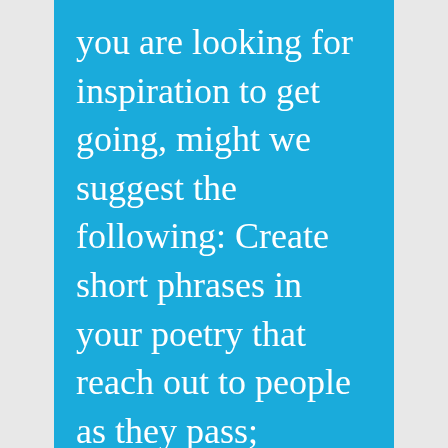you are looking for inspiration to get going, might we suggest the following: Create short phrases in your poetry that reach out to people as they pass; comfort